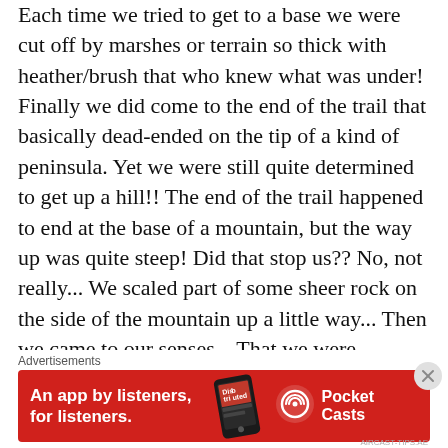Each time we tried to get to a base we were cut off by marshes or terrain so thick with heather/brush that who knew what was under!  Finally we did come to the end of the trail that basically dead-ended on the tip of a kind of peninsula.  Yet we were still quite determined to get up a hill!!  The end of the trail happened to end at the base of a mountain, but the way up was quite steep!  Did that stop us??  No, not really... We scaled part of some sheer rock on the side of the mountain up a little way... Then we came to our senses... That we were probably being really daft!!  So we gingerly made our way back down. Seriously, the only real way to get up that particular mountain was with proper mountain climbing gear!  But again, once at the base we thought surly there MUST be a way up!  Anna happened to find a little sheep path, which we followed for several yards until it literally dead-ended at a drop hundreds
[Figure (other): Advertisement banner for Pocket Casts app: red background, text 'An app by listeners, for listeners.' with a phone image and Pocket Casts logo.]